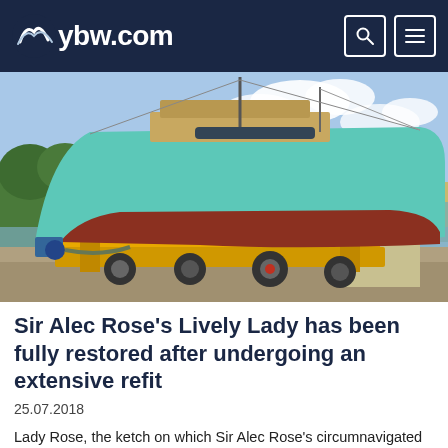ybw.com
[Figure (photo): A teal/turquoise ketch sailboat out of the water, supported on a yellow wheeled trailer/cradle on a boat ramp near a river. The hull bottom is dark red/brown. Trees and a cloudy sky are visible in the background.]
Sir Alec Rose’s Lively Lady has been fully restored after undergoing an extensive refit
25.07.2018
Lady Rose, the ketch on which Sir Alec Rose’s circumnavigated around the globe, has been fully restored